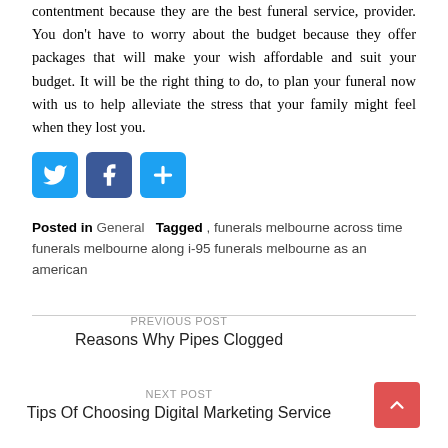contentment because they are the best funeral service, provider. You don’t have to worry about the budget because they offer packages that will make your wish affordable and suit your budget. It will be the right thing to do, to plan your funeral now with us to help alleviate the stress that your family might feel when they lost you.
[Figure (infographic): Social share buttons: Twitter (blue bird icon), Facebook (blue f icon), and a blue plus/share icon]
Posted in General   Tagged , funerals melbourne across time funerals melbourne along i-95 funerals melbourne as an american
PREVIOUS POST
Reasons Why Pipes Clogged
NEXT POST
Tips Of Choosing Digital Marketing Service